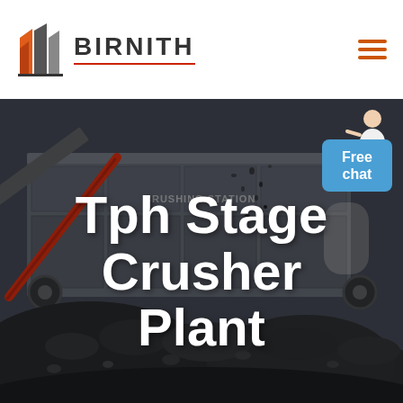[Figure (logo): Birnith company logo with orange/red building icon and bold BIRNITH text with red underline, plus hamburger menu icon on the right]
[Figure (photo): Industrial crushing station machinery photo — large grey crusher plant equipment with conveyor belts and piles of crushed dark stone/coal in the foreground, dark moody background]
Tph Stage Crusher Plant